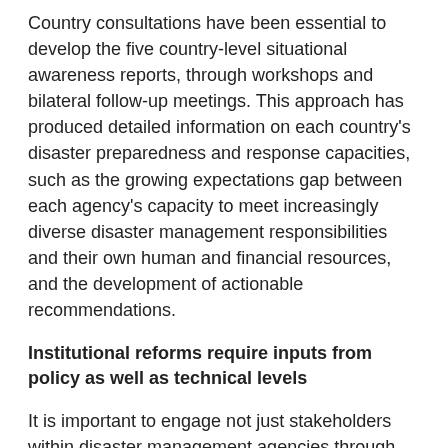Country consultations have been essential to develop the five country-level situational awareness reports, through workshops and bilateral follow-up meetings. This approach has produced detailed information on each country's disaster preparedness and response capacities, such as the growing expectations gap between each agency's capacity to meet increasingly diverse disaster management responsibilities and their own human and financial resources, and the development of actionable recommendations.
Institutional reforms require inputs from policy as well as technical levels
It is important to engage not just stakeholders within disaster management agencies through technical assessments and trainings, but also involve policymakers within the government who are likely to determine the long-term success of these institutional reforms. To define